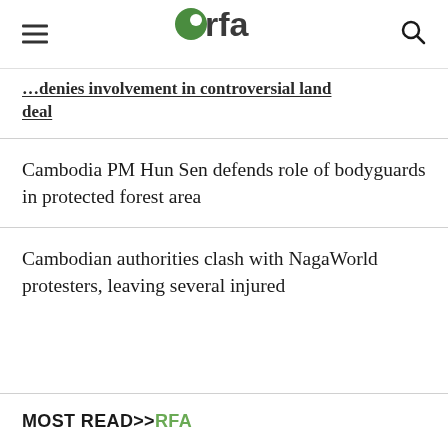rfa (Radio Free Asia logo)
…denies involvement in controversial land deal
Cambodia PM Hun Sen defends role of bodyguards in protected forest area
Cambodian authorities clash with NagaWorld protesters, leaving several injured
MOST READ>>RFA